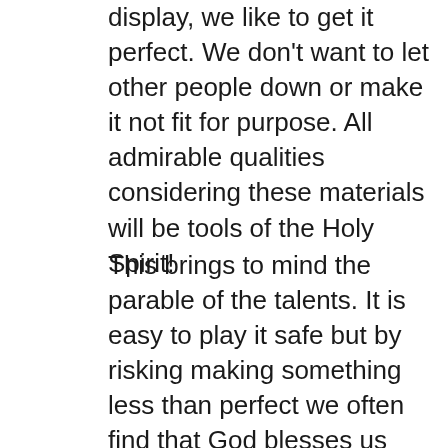display, we like to get it perfect. We don't want to let other people down or make it not fit for purpose. All admirable qualities considering these materials will be tools of the Holy Spirit!
This brings to mind the parable of the talents. It is easy to play it safe but by risking making something less than perfect we often find that God blesses us 100 fold for our effort. I think part of the challenge in having a go at making materials is our cultural belief in speaking less of our own abilities. This is somehow meant to make us appear humble. True humility is in